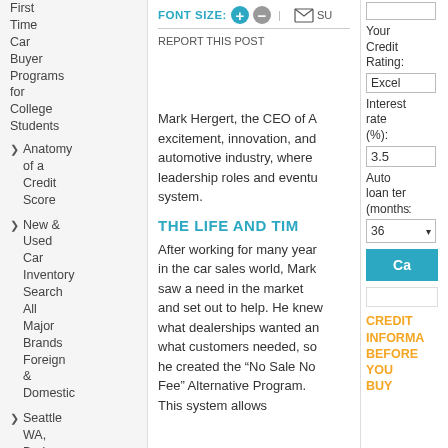First Time Car Buyer Programs for College Students
Anatomy of a Credit Score
New & Used Car Inventory Search All Major Brands Foreign & Domestic
Seattle WA, Bad
FONT SIZE: + − | [envelope] SU... REPORT THIS POST
Mark Hergert, the CEO of A... excitement, innovation, and automotive industry, where leadership roles and eventu system.
THE LIFE AND TI...
After working for many year in the car sales world, Mark saw a need in the market and set out to help. He knew what dealerships wanted and what customers needed, so he created the "No Sale No Fee" Alternative Program. This system allows
Your Credit Rating:
Excel
Interest rate (%):
3.5
Auto loan te (months:
36
Ca
CREDIT INFORMATION BEFORE YOU BUY